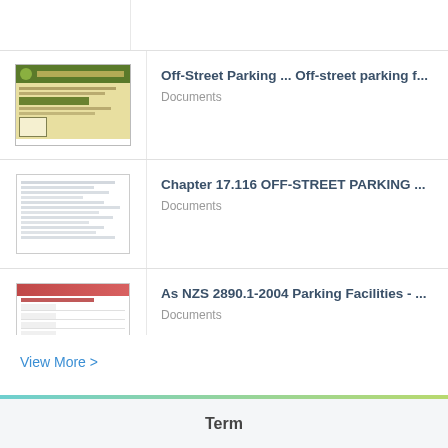Off-Street Parking ... Off-street parking f...
Documents
Chapter 17.116 OFF-STREET PARKING ...
Documents
As NZS 2890.1-2004 Parking Facilities - ...
Documents
View More >
Term